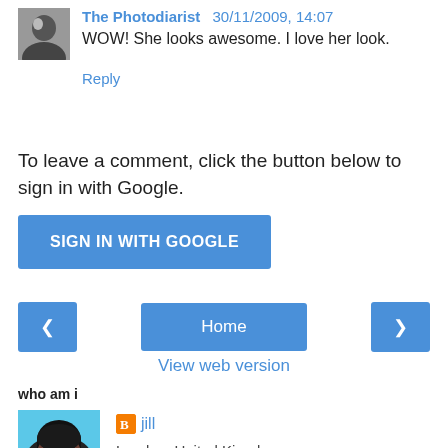The Photodiarist  30/11/2009, 14:07
WOW! She looks awesome. I love her look.
Reply
To leave a comment, click the button below to sign in with Google.
SIGN IN WITH GOOGLE
< Home >
View web version
who am i
jill
London, United Kingdom
View my complete profile